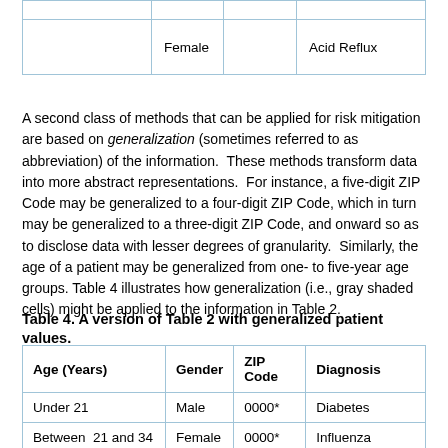|  |  |  |  |
| --- | --- | --- | --- |
|  |  |  |  |
|  | Female |  | Acid Reflux |
A second class of methods that can be applied for risk mitigation are based on generalization (sometimes referred to as abbreviation) of the information. These methods transform data into more abstract representations. For instance, a five-digit ZIP Code may be generalized to a four-digit ZIP Code, which in turn may be generalized to a three-digit ZIP Code, and onward so as to disclose data with lesser degrees of granularity. Similarly, the age of a patient may be generalized from one- to five-year age groups. Table 4 illustrates how generalization (i.e., gray shaded cells) might be applied to the information in Table 2.
Table 4. A version of Table 2 with generalized patient values.
| Age (Years) | Gender | ZIP Code | Diagnosis |
| --- | --- | --- | --- |
| Under 21 | Male | 0000* | Diabetes |
| Between 21 and 34 | Female | 0000* | Influenza |